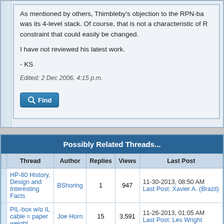As mentioned by others, Thimbleby's objection to the RPN-base was its 4-level stack. Of course, that is not a characteristic of R constraint that could easily be changed.
I have not reviewed his latest work.
- KS
Edited: 2 Dec 2006, 4:15 p.m.
Find
Possibly Related Threads...
| Thread | Author | Replies | Views | Last Post |
| --- | --- | --- | --- | --- |
| HP-80 History, Design and Interesting Facts | BShoring | 1 | 947 | 11-30-2013, 08:50 AM
Last Post: Xavier A. (Brazil) |
| PIL-box w/o IL cable = paper weight | Joe Horn | 15 | 3,591 | 11-26-2013, 01:05 AM
Last Post: Les Wright |